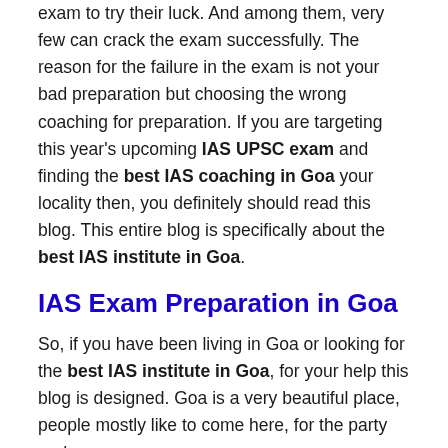exam to try their luck. And among them, very few can crack the exam successfully. The reason for the failure in the exam is not your bad preparation but choosing the wrong coaching for preparation. If you are targeting this year's upcoming IAS UPSC exam and finding the best IAS coaching in Goa your locality then, you definitely should read this blog. This entire blog is specifically about the best IAS institute in Goa.
IAS Exam Preparation in Goa
So, if you have been living in Goa or looking for the best IAS institute in Goa, for your help this blog is designed. Goa is a very beautiful place, people mostly like to come here, for the party and